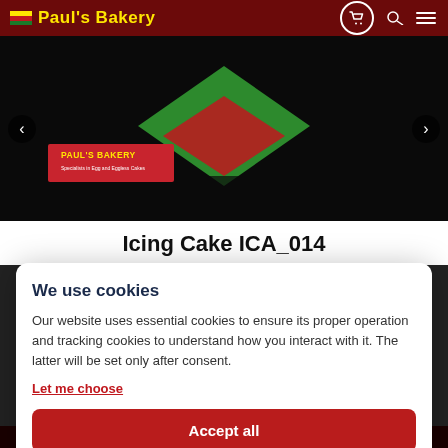Paul's Bakery
[Figure (screenshot): Bakery product carousel image showing green and red triangular cake decoration with Paul's Bakery logo label. Left and right navigation arrows visible.]
Icing Cake ICA_014
We use cookies
Our website uses essential cookies to ensure its proper operation and tracking cookies to understand how you interact with it. The latter will be set only after consent.
Let me choose